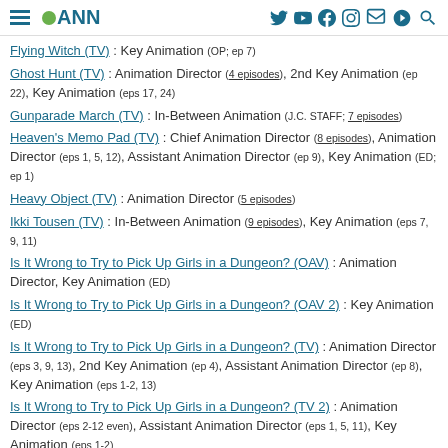ANN - Anime News Network
Flying Witch (TV) : Key Animation (OP; ep 7)
Ghost Hunt (TV) : Animation Director (4 episodes), 2nd Key Animation (ep 22), Key Animation (eps 17, 24)
Gunparade March (TV) : In-Between Animation (J.C. STAFF; 7 episodes)
Heaven's Memo Pad (TV) : Chief Animation Director (8 episodes), Animation Director (eps 1, 5, 12), Assistant Animation Director (ep 9), Key Animation (ED; ep 1)
Heavy Object (TV) : Animation Director (5 episodes)
Ikki Tousen (TV) : In-Between Animation (9 episodes), Key Animation (eps 7, 9, 11)
Is It Wrong to Try to Pick Up Girls in a Dungeon? (OAV) : Animation Director, Key Animation (ED)
Is It Wrong to Try to Pick Up Girls in a Dungeon? (OAV 2) : Key Animation (ED)
Is It Wrong to Try to Pick Up Girls in a Dungeon? (TV) : Animation Director (eps 3, 9, 13), 2nd Key Animation (ep 4), Assistant Animation Director (ep 8), Key Animation (eps 1-2, 13)
Is It Wrong to Try to Pick Up Girls in a Dungeon? (TV 2) : Animation Director (eps 2-12 even), Assistant Animation Director (eps 1, 5, 11), Key Animation (eps 1-2)
Is It Wrong to Try to Pick Up Girls in a Dungeon? III (OAV) : Unit